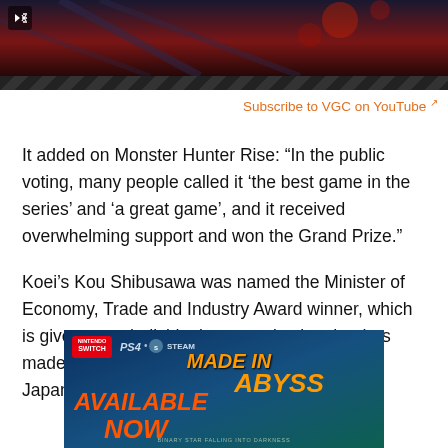[Figure (screenshot): Video thumbnail showing dark red/blue abstract image with hatched stripe bar at bottom and mute icon top-left]
Subscribe to VGC on YouTube [external link icon]
It added on Monster Hunter Rise: “In the public voting, many people called it ‘the best game in the series’ and ‘a great game’, and it received overwhelming support and won the Grand Prize.”
Koei’s Kou Shibusawa was named the Minister of Economy, Trade and Industry Award winner, which is given to an individual or organization that has made a great contribution to the growth of the Japanese games industry.
[Figure (photo): Advertisement banner for Made in Abyss: Binary Star Falling into Darkness game, showing Nintendo Switch, PS4, and Steam logos with 'Available Now' text in orange/red and 'Made in Abyss' title text in orange against a blue-teal background]